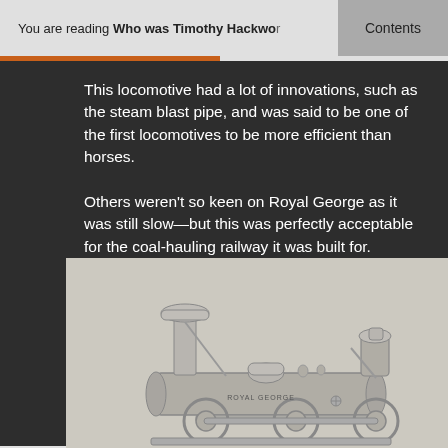You are reading Who was Timothy Hackwo…    Contents
This locomotive had a lot of innovations, such as the steam blast pipe, and was said to be one of the first locomotives to be more efficient than horses.
Others weren't so keen on Royal George as it was still slow—but this was perfectly acceptable for the coal-hauling railway it was built for.
[Figure (illustration): Black and white technical illustration of the Royal George locomotive, showing the boiler, chimney stack, and mechanical components. The text 'ROYAL GEORGE' is visible on the boiler.]